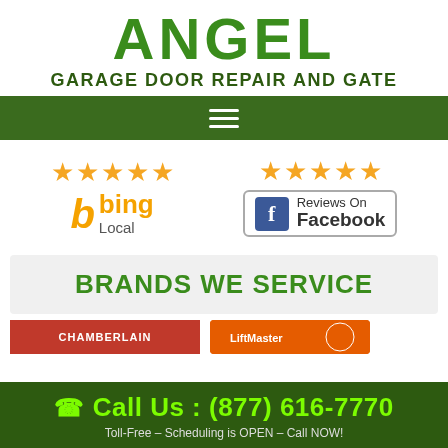ANGEL GARAGE DOOR REPAIR AND GATE
[Figure (screenshot): Green navigation bar with hamburger menu icon (three white horizontal lines)]
[Figure (logo): Five yellow stars above Bing Local logo - rating badge]
[Figure (logo): Five yellow stars above Facebook Reviews On Facebook badge]
BRANDS WE SERVICE
[Figure (logo): Chamberlain brand logo (red background, white text)]
[Figure (logo): Orange brand logo partially visible]
Call Us : (877) 616-7770
Toll-Free – Scheduling is OPEN – Call NOW!